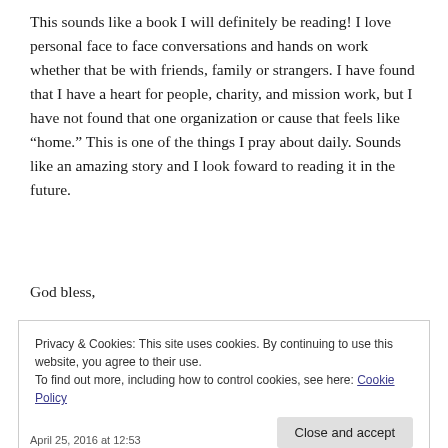This sounds like a book I will definitely be reading! I love personal face to face conversations and hands on work whether that be with friends, family or strangers. I have found that I have a heart for people, charity, and mission work, but I have not found that one organization or cause that feels like “home.” This is one of the things I pray about daily. Sounds like an amazing story and I look foward to reading it in the future.
God bless,
Privacy & Cookies: This site uses cookies. By continuing to use this website, you agree to their use.
To find out more, including how to control cookies, see here: Cookie Policy
Close and accept
April 25, 2016 at 12:53